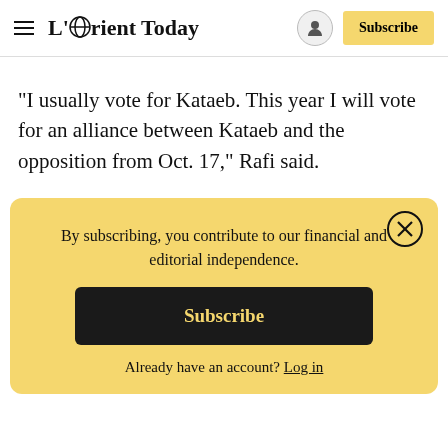L'Orient Today — Subscribe
“I usually vote for Kataeb. This year I will vote for an alliance between Kataeb and the opposition from Oct. 17,” Rafi said.
By subscribing, you contribute to our financial and editorial independence.
Subscribe
Already have an account? Log in